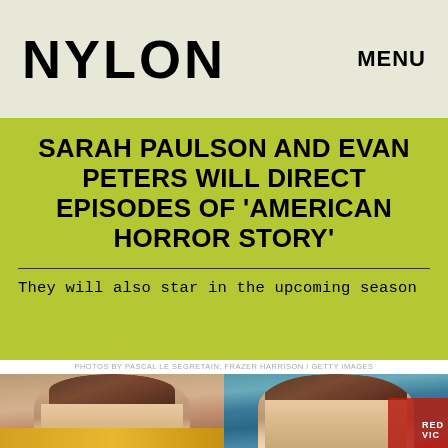NYLON   MENU
SARAH PAULSON AND EVAN PETERS WILL DIRECT EPISODES OF 'AMERICAN HORROR STORY'
They will also star in the upcoming season
[Figure (photo): Side-by-side photos of Sarah Paulson (left) and Evan Peters (right). Credit: PHOTOS BY PASCAL LE SEGRETAIN; FRAZER HARRISON / GETTY IMAGES]